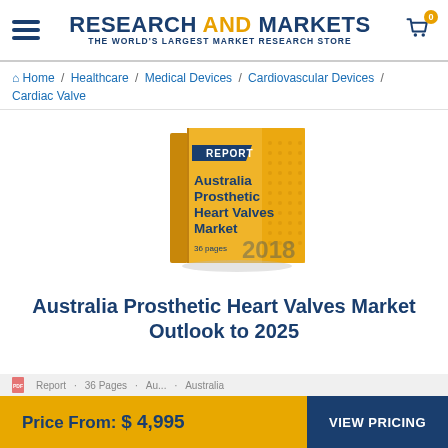RESEARCH AND MARKETS — THE WORLD'S LARGEST MARKET RESEARCH STORE
Home / Healthcare / Medical Devices / Cardiovascular Devices / Cardiac Valve
[Figure (illustration): Book cover illustration for 'Australia Prosthetic Heart Valves Market 2018 Report, 36 pages' — yellow book with dark blue title text and dotted pattern]
Australia Prosthetic Heart Valves Market Outlook to 2025
Price From: $4,995
VIEW PRICING